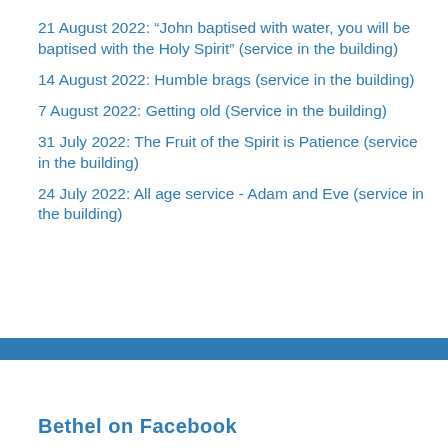21 August 2022: “John baptised with water, you will be baptised with the Holy Spirit” (service in the building)
14 August 2022: Humble brags (service in the building)
7 August 2022: Getting old (Service in the building)
31 July 2022: The Fruit of the Spirit is Patience (service in the building)
24 July 2022: All age service - Adam and Eve (service in the building)
Bethel on Facebook